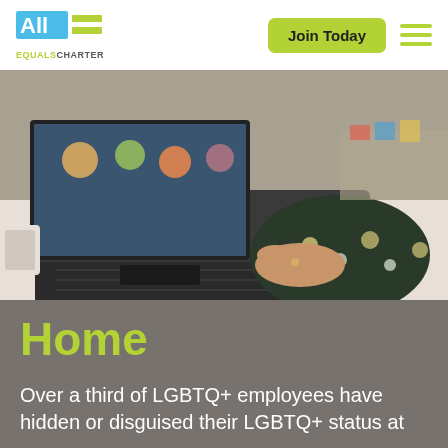All Equals Charter — Join Today navigation header
[Figure (photo): Person typing on a laptop at a desk, wearing a dark floral patterned top. The laptop screen shows a video call with people. Office desk environment with papers and items in the background.]
Home
Over a third of LGBTQ+ employees have hidden or disguised their LGBTQ+ status at